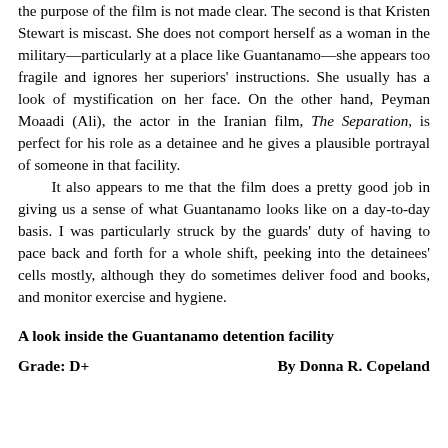the purpose of the film is not made clear. The second is that Kristen Stewart is miscast. She does not comport herself as a woman in the military—particularly at a place like Guantanamo—she appears too fragile and ignores her superiors' instructions. She usually has a look of mystification on her face. On the other hand, Peyman Moaadi (Ali), the actor in the Iranian film, The Separation, is perfect for his role as a detainee and he gives a plausible portrayal of someone in that facility.

It also appears to me that the film does a pretty good job in giving us a sense of what Guantanamo looks like on a day-to-day basis. I was particularly struck by the guards' duty of having to pace back and forth for a whole shift, peeking into the detainees' cells mostly, although they do sometimes deliver food and books, and monitor exercise and hygiene.
A look inside the Guantanamo detention facility
Grade:  D+
By Donna R. Copeland